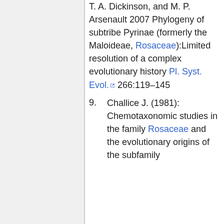...Evans, D. R. Morgan, T. A. Dickinson, and M. P. Arsenault 2007 Phylogeny of subtribe Pyrinae (formerly the Maloideae, Rosaceae):Limited resolution of a complex evolutionary history Pl. Syst. Evol. 266:119–145
9. Challice J. (1981): Chemotaxonomic studies in the family Rosaceae and the evolutionary origins of the subfamily